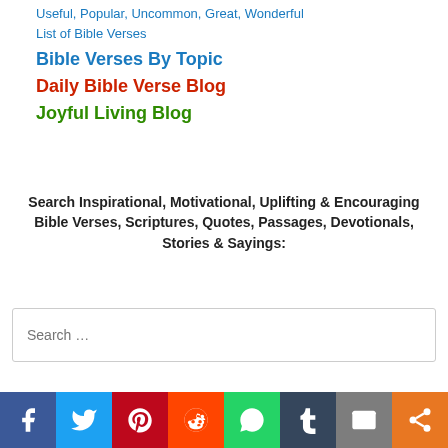Useful, Popular, Uncommon, Great, Wonderful List of Bible Verses
Bible Verses By Topic
Daily Bible Verse Blog
Joyful Living Blog
Search Inspirational, Motivational, Uplifting & Encouraging Bible Verses, Scriptures, Quotes, Passages, Devotionals, Stories & Sayings:
Search …
[Figure (infographic): Social media sharing bar with icons: Facebook (blue), Twitter (light blue), Pinterest (red), Reddit (orange-red), WhatsApp (green), Tumblr (dark navy), Email (grey), Share (orange)]